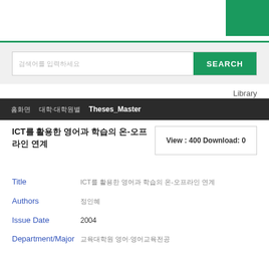Library header with green accent block
검색어를 입력하세요 SEARCH
Library
홈화면 대학·대학원별 Theses_Master
ICT를 활용한 영어과 학습의 온-오프라인 연계
View : 400 Download: 0
Title  ICT를 활용한 영어과 학습의 온-오프라인 연계
Authors  정인혜
Issue Date  2004
Department/Major  교육대학원 영어·영어교육전공